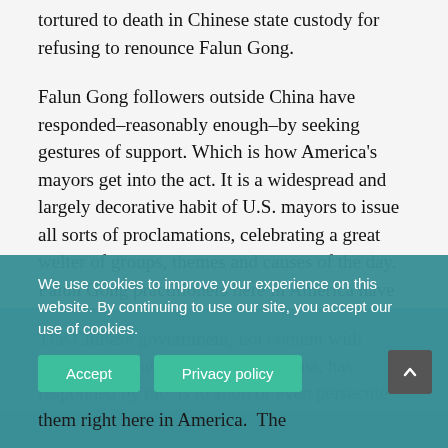tortured to death in Chinese state custody for refusing to renounce Falun Gong.
Falun Gong followers outside China have responded–reasonably enough–by seeking gestures of support. Which is how America's mayors get into the act. It is a widespread and largely decorative habit of U.S. mayors to issue all sorts of proclamations, celebrating a great welter of groups, themes and causes of the day. Falun Gong practitioners here in America have asked many mayors in recent years to issue proclamations honoring their movement.
The Chinese government, not content with persecuting the Falun Gong in China, has responded by u... ic ...is to shun or even persecute them right here in America. The
We use cookies to improve your experience on this website. By continuing to use our site, you accept our use of cookies.
Accept
Privacy policy